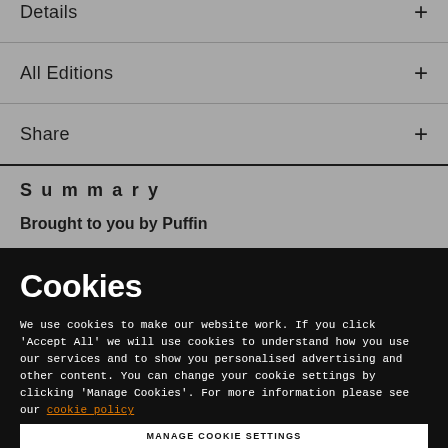Details +
All Editions +
Share +
Summary
Brought to you by Puffin
Cookies
We use cookies to make our website work. If you click 'Accept All' we will use cookies to understand how you use our services and to show you personalised advertising and other content. You can change your cookie settings by clicking 'Manage Cookies'. For more information please see our cookie policy
MANAGE COOKIE SETTINGS